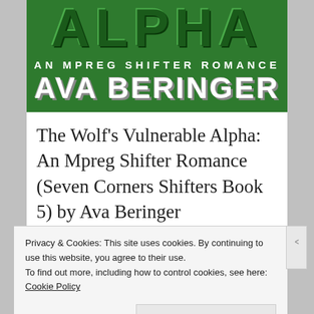[Figure (illustration): Book cover for 'The Wolf's Vulnerable Alpha: An Mpreg Shifter Romance' by Ava Beringer. Green background with large letters 'ALPHA' at top, subtitle 'AN MPREG SHIFTER ROMANCE' and author name 'AVA BERINGER' below.]
The Wolf's Vulnerable Alpha: An Mpreg Shifter Romance (Seven Corners Shifters Book 5) by Ava Beringer
A big, tough, omega is helping me catch
Privacy & Cookies: This site uses cookies. By continuing to use this website, you agree to their use.
To find out more, including how to control cookies, see here: Cookie Policy
Close and accept